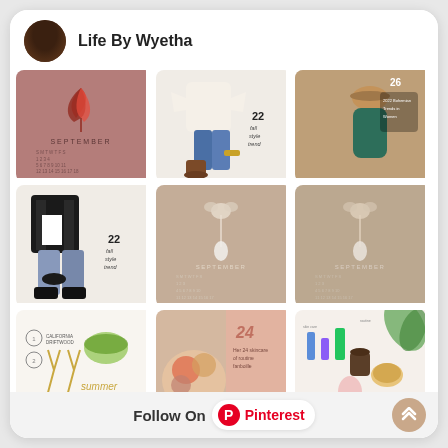Life By Wyetha
[Figure (infographic): Pinterest board grid showing 9 pins with fall/September themes including calendar wallpapers, fashion outfits, and lifestyle content]
Follow On Pinterest